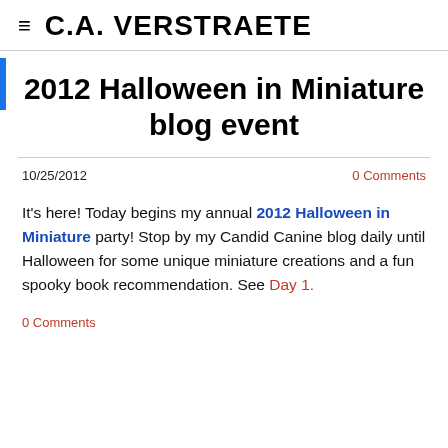C.A. VERSTRAETE
2012 Halloween in Miniature blog event
10/25/2012
0 Comments
It's here! Today begins my annual 2012 Halloween in Miniature party! Stop by my Candid Canine blog daily until Halloween for some unique miniature creations and a fun spooky book recommendation. See Day 1.
0 Comments